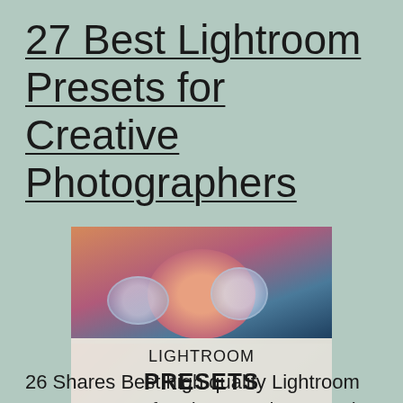27 Best Lightroom Presets for Creative Photographers
[Figure (photo): Photo of a woman holding crystal/glass spheres in front of her face with blue tinted lighting, overlaid with text 'LIGHTROOM PRESETS']
26 Shares Best high quality Lightroom presets, great for photography, portraits, indoor,